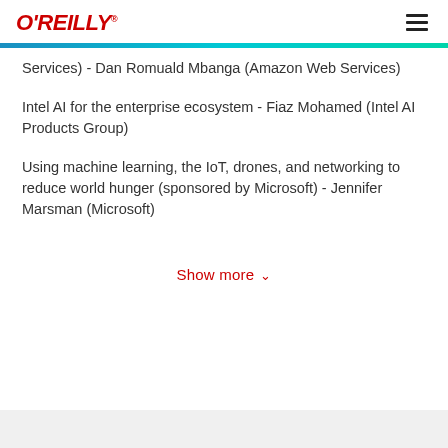O'REILLY
Services) - Dan Romuald Mbanga (Amazon Web Services)
Intel AI for the enterprise ecosystem - Fiaz Mohamed (Intel AI Products Group)
Using machine learning, the IoT, drones, and networking to reduce world hunger (sponsored by Microsoft) - Jennifer Marsman (Microsoft)
Show more